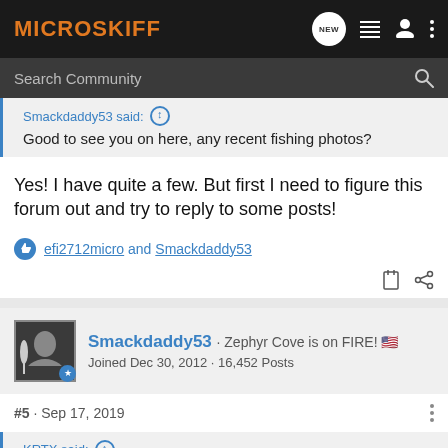MICROSKIFF
Search Community
Smackdaddy53 said:
Good to see you on here, any recent fishing photos?
Yes! I have quite a few. But first I need to figure this forum out and try to reply to some posts!
efi2712micro and Smackdaddy53
Smackdaddy53 · Zephyr Cove is on FIRE! 🇺🇸
Joined Dec 30, 2012 · 16,452 Posts
#5 · Sep 17, 2019
KRTX said: